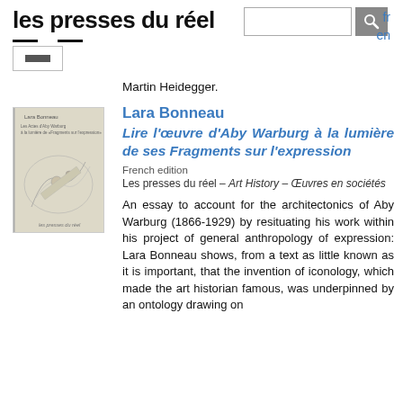les presses du réel
Martin Heidegger.
Lara Bonneau
Lire l'œuvre d'Aby Warburg à la lumière de ses Fragments sur l'expression
French edition
Les presses du réel – Art History – Œuvres en sociétés
An essay to account for the architectonics of Aby Warburg (1866-1929) by resituating his work within his project of general anthropology of expression: Lara Bonneau shows, from a text as little known as it is important, that the invention of iconology, which made the art historian famous, was underpinned by an ontology drawing on
[Figure (photo): Book cover of Lara Bonneau's 'Lire l'œuvre d'Aby Warburg à la lumière de ses Fragments sur l'expression', showing a historical illustration with figures]